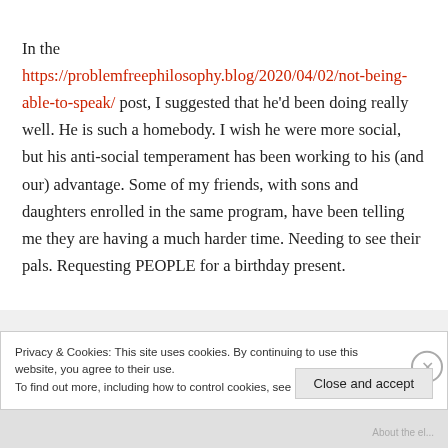In the https://problemfreephilosophy.blog/2020/04/02/not-being-able-to-speak/ post, I suggested that he'd been doing really well. He is such a homebody. I wish he were more social, but his anti-social temperament has been working to his (and our) advantage. Some of my friends, with sons and daughters enrolled in the same program, have been telling me they are having a much harder time. Needing to see their pals. Requesting PEOPLE for a birthday present.
Privacy & Cookies: This site uses cookies. By continuing to use this website, you agree to their use.
To find out more, including how to control cookies, see here: Cookie Policy